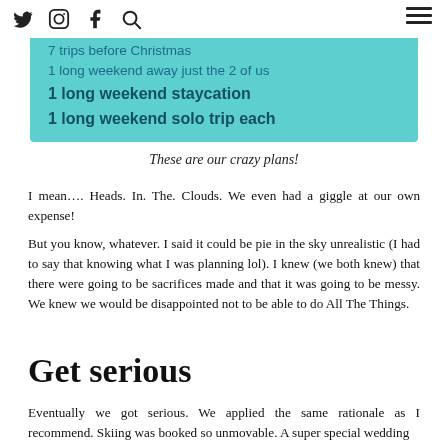Twitter Instagram Facebook Search [hamburger menu]
[Figure (infographic): Teal/turquoise rounded rectangle containing text listing travel plans: '7 trips before Christmas', '1 long weekend away just the 2 of us', '1 long weekend staycation', '1 long weekend solo trip each']
These are our crazy plans!
I mean…. Heads. In. The. Clouds. We even had a giggle at our own expense!
But you know, whatever. I said it could be pie in the sky unrealistic (I had to say that knowing what I was planning lol). I knew (we both knew) that there were going to be sacrifices made and that it was going to be messy. We knew we would be disappointed not to be able to do All The Things.
Get serious
Eventually we got serious. We applied the same rationale as I recommend. Skiing was booked so unmovable. A super special wedding